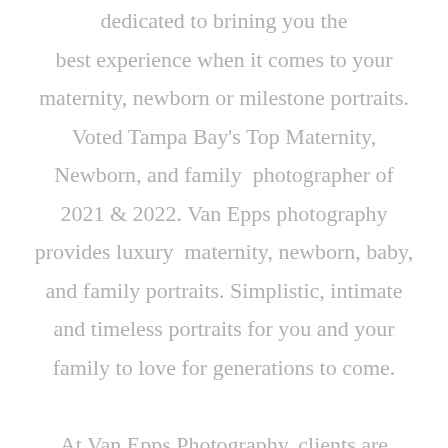dedicated to brining you the best experience when it comes to your maternity, newborn or milestone portraits. Voted Tampa Bay's Top Maternity, Newborn, and family photographer of 2021 & 2022. Van Epps photography provides luxury maternity, newborn, baby, and family portraits. Simplistic, intimate and timeless portraits for you and your family to love for generations to come.

At Van Epps Photography, clients are number one. Each session is custom designed for you. From your hair and makeup to your final image delivery, your